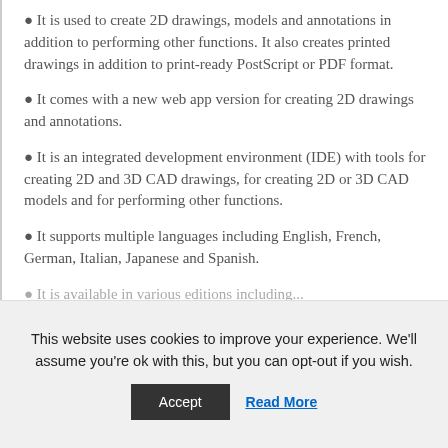It is used to create 2D drawings, models and annotations in addition to performing other functions. It also creates printed drawings in addition to print-ready PostScript or PDF format.
It comes with a new web app version for creating 2D drawings and annotations.
It is an integrated development environment (IDE) with tools for creating 2D and 3D CAD drawings, for creating 2D or 3D CAD models and for performing other functions.
It supports multiple languages including English, French, German, Italian, Japanese and Spanish.
It is available in various editions including...
This website uses cookies to improve your experience. We'll assume you're ok with this, but you can opt-out if you wish.
Accept | Read More